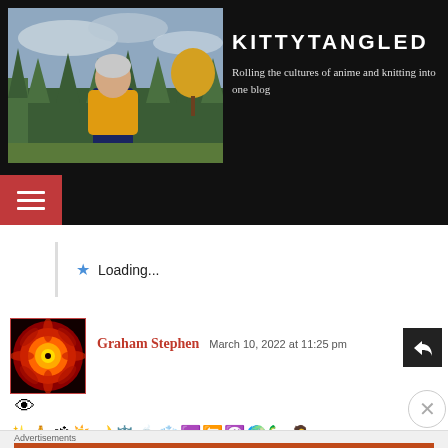[Figure (screenshot): Blog header with photo of person in yellow jacket outdoors, dark background]
KITTYTANGLED
Rolling the cultures of anime and knitting into one blog
[Figure (other): Hamburger menu button (three lines) on red background in navigation bar]
Loading...
[Figure (illustration): Mandala/kaleidoscope avatar image with red/orange/yellow pattern]
Graham Stephen
March 10, 2022 at 11:25 pm
[Figure (other): Reply arrow button (dark square with white arrow)]
👁
✨🙏ॐ🌞🌙⚖️🍵❄️♾️無☯️🌍🦕🤷
Advertisements
[Figure (other): DuckDuckGo advertisement banner: Search, browse, and email with more privacy. All in One Free App. DuckDuckGo logo on dark background.]